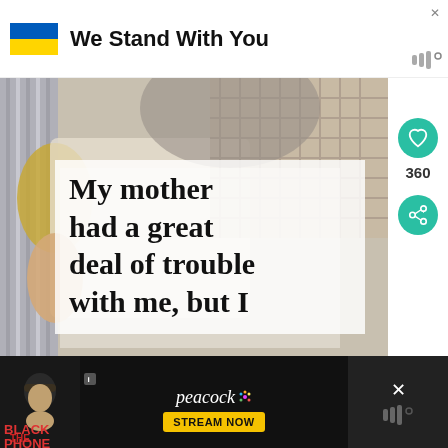[Figure (infographic): Advertisement banner: Ukraine flag (blue and yellow) with text 'We Stand With You' and Mojo logo]
[Figure (photo): Photo of hands holding laundry/clothing items with a quote overlay text: 'My mother had a great deal of trouble with me, but I']
My mother had a great deal of trouble with me, but I
360
WHAT'S NEXT → 128 Happy Birthday...
[Figure (infographic): Bottom advertisement: The Black Phone movie on Peacock — Stream Now]